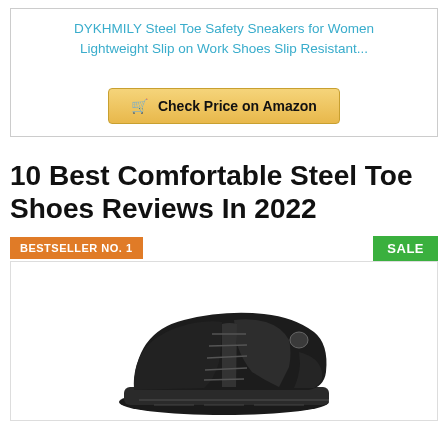DYKHMILY Steel Toe Safety Sneakers for Women Lightweight Slip on Work Shoes Slip Resistant...
Check Price on Amazon
10 Best Comfortable Steel Toe Shoes Reviews In 2022
BESTSELLER NO. 1
SALE
[Figure (photo): Black steel toe work shoe/sneaker shown from a side-angle view against white background]